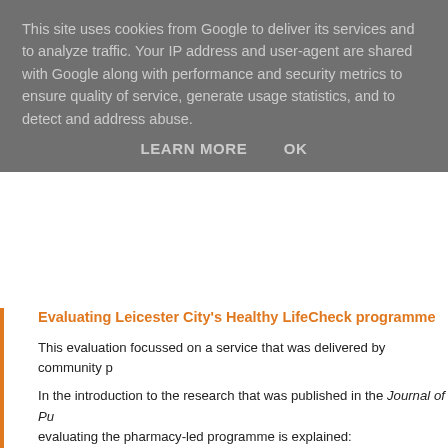This site uses cookies from Google to deliver its services and to analyze traffic. Your IP address and user-agent are shared with Google along with performance and security metrics to ensure quality of service, generate usage statistics, and to detect and address abuse.
LEARN MORE    OK
Evaluating Leicester City's Healthy LifeCheck programme
This evaluation focussed on a service that was delivered by community p...
In the introduction to the research that was published in the Journal of Pu... evaluating the pharmacy-led programme is explained:
''In the past, risk screening programmes have been exclusively d... been suggested that such an approach may widen health inequa... routinely access organized health care... Subsequently, emphas... incorporating second sector organizations in delivering a vascula...
This work thus assess precisely how important it is to have a 'many-pron... inequalities. The study involved a sample of 2,521 individuals, which we... and results may be read in full here.
In short, the conclusions to the study spoke resoundingly in favour of...